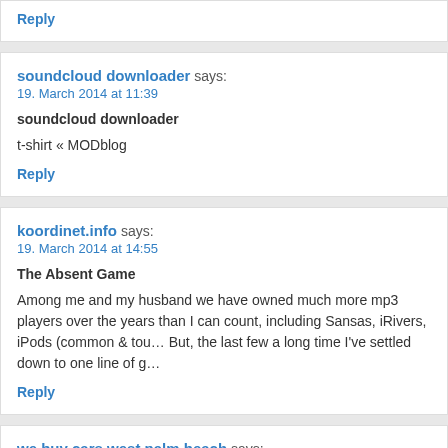Reply
soundcloud downloader says:
19. March 2014 at 11:39

soundcloud downloader

t-shirt « MODblog

Reply
koordinet.info says:
19. March 2014 at 14:55

The Absent Game

Among me and my husband we have owned much more mp3 players over the years than I can count, including Sansas, iRivers, iPods (common & touch), the Zune, etc. But, the last few a long time I've settled down to one line of g…

Reply
we buy cars west palm beach says:
19. March 2014 at 21:03

we buy cars west palm beach

[…]here are some links to websites that we link to since we think they are worth visiting[…]